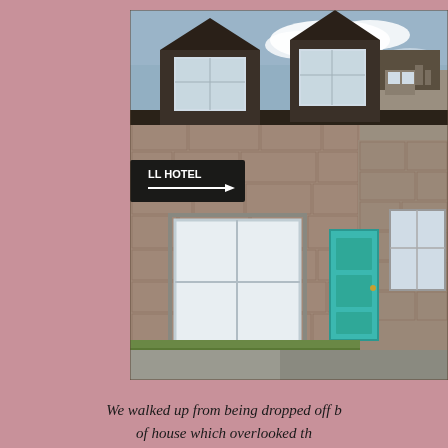[Figure (photo): Photograph of a row of traditional Scottish stone cottages with dormer windows, a teal/turquoise door, and a sign pointing to a hotel. Taken from street level showing the granite stone facade, dormer windows on the upper floor, and a grey road with grass verge in the foreground. Blue sky with clouds visible above.]
We walked up from being dropped off b of house which overlooked th